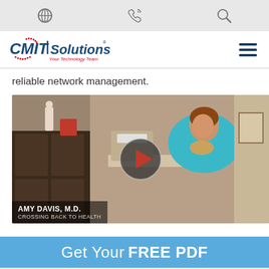[Figure (screenshot): Website navigation top bar with globe icon, phone icon, and search icon on gray background]
[Figure (logo): CMIT Solutions logo with 'Your Technology Team' tagline and hamburger menu icon]
reliable network management.
[Figure (photo): Video thumbnail showing a woman (Amy Davis, M.D.) in a teal blazer in a medical office setting, with a play button overlay. Caption reads AMY DAVIS, M.D. / CROSSING BACK TO HEALTH]
Get Your FREE PDF